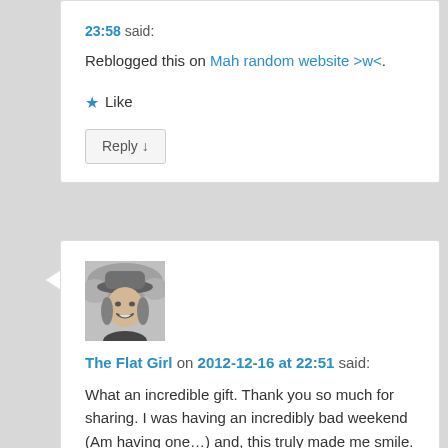23:58 said: Reblogged this on Mah random website >w<.
Like
Reply ↓
[Figure (photo): Black and white photo of a smiling woman wearing a wide-brim hat outdoors]
The Flat Girl on 2012-12-16 at 22:51 said:
What an incredible gift. Thank you so much for sharing. I was having an incredibly bad weekend (Am having one…) and, this truly made me smile.